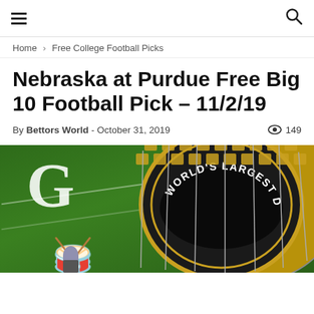≡  🔍
Home › Free College Football Picks
Nebraska at Purdue Free Big 10 Football Pick – 11/2/19
By Bettors World - October 31, 2019  👁 149
[Figure (photo): Photo of Purdue's World's Largest Drum on a football field with green turf and a large white G visible, with a person in uniform nearby.]